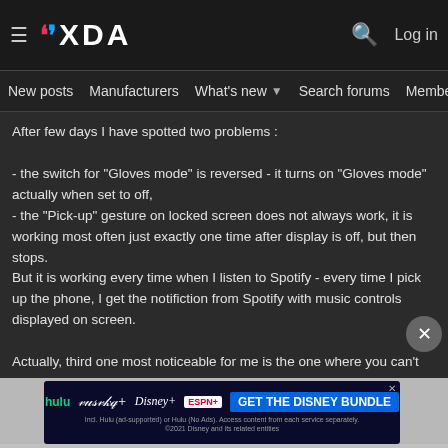≡ XDA  🔍 Log in
New posts  Manufacturers  What's new ▾  Search forums  Members  >
After few days I have spotted two problems :

- the switch for "Gloves mode" is reversed - it turns on "Gloves mode" actually when set to off,
- the "Pick-up" gesture on locked screen does not always work, it is working most often just exactly one time after display is off, but then stops.
But it is working every time when I listen to Spotify - every time I pick up the phone, I get the notifiction from Spotify with music controls displayed on screen.

Actually, third one most noticeable for me is the one where you can't set own colours for notifications from Phone (i.e. red LED for missed call) - every time it displays the notification in automatic colour.
[Figure (infographic): Disney Bundle advertisement: hulu, Disney+, ESPN+ logos with 'GET THE DISNEY BUNDLE' CTA button. Fine print: Incl. Hulu (ad-supported) or Hulu (No Ads). Access content from each service separately. ©2021 Disney and its related entities]